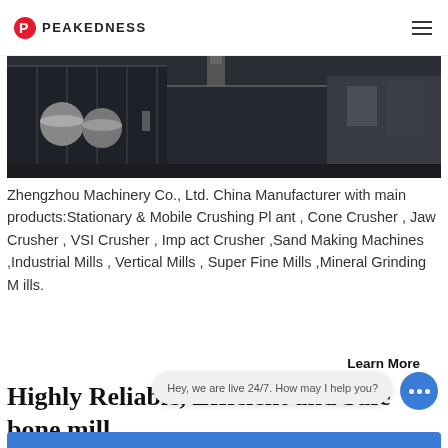PEAKEDNESS
[Figure (photo): Industrial machinery facility photo showing large dark metal structures, silos, and industrial equipment.]
Zhengzhou Machinery Co., Ltd. China Manufacturer with main products:Stationary & Mobile Crushing Plant , Cone Crusher , Jaw Crusher , VSI Crusher , Impact Crusher ,Sand Making Machines ,Industrial Mills , Vertical Mills , Super Fine Mills ,Mineral Grinding Mills.
Learn More
Highly Reliable, Efficient and Safe bone mill
Hey, we are live 24/7. How may I help you?